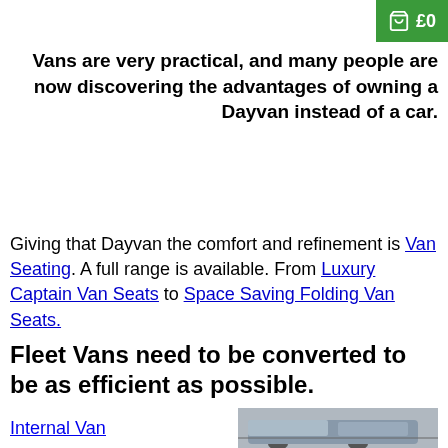[Figure (other): Green shopping cart icon with £0 text on green background in top right corner]
Vans are very practical, and many people are now discovering the advantages of owning a Dayvan instead of a car.
Giving that Dayvan the comfort and refinement is Van Seating. A full range is available. From Luxury Captain Van Seats to Space Saving Folding Van Seats.
Fleet Vans need to be converted to be as efficient as possible.
Internal Van
[Figure (photo): Partial photo of a van at the bottom right of the page]